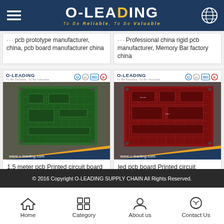O-LEADING — To Be Reliable, To Be Valuable
Pcb prototype manufacturer, china, pcb board manufacturer china
Professional china rigid pcb manufacturer, Memory Bar factory china
[Figure (photo): Green PCB printed circuit board with O-LEADING branding and www.o-leading.com banner]
1.5 meter pcb Printed circuit board and OEM pcb supplier in china
[Figure (photo): Red PCB printed circuit board with O-LEADING branding and www.o-leading.com banner]
led pcb board Printed circuit board,washing machine pcb board Printed circuit board
© 2016 Copyright O-LEADING SUPPLY CHAIN All Rights Reserved.
Home
Category
About us
Contact Us